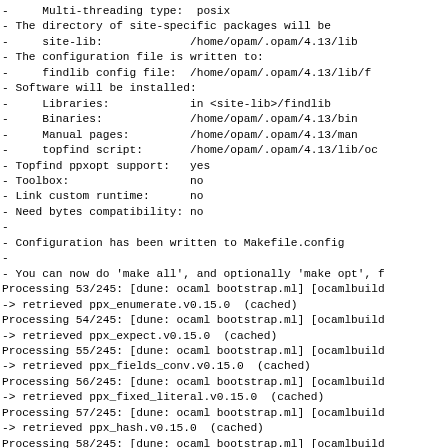- Multi-threading type: posix
- The directory of site-specific packages will be
-     site-lib:             /home/opam/.opam/4.13/lib
- The configuration file is written to:
-     findlib config file:  /home/opam/.opam/4.13/lib/f
- Software will be installed:
-     Libraries:            in <site-lib>/findlib
-     Binaries:             /home/opam/.opam/4.13/bin
-     Manual pages:         /home/opam/.opam/4.13/man
-     topfind script:       /home/opam/.opam/4.13/lib/oc
- Topfind ppxopt support:   yes
- Toolbox:                  no
- Link custom runtime:      no
- Need bytes compatibility: no
-
- Configuration has been written to Makefile.config
-
- You can now do 'make all', and optionally 'make opt', f
Processing 53/245: [dune: ocaml bootstrap.ml] [ocamlbuild
-> retrieved ppx_enumerate.v0.15.0  (cached)
Processing 54/245: [dune: ocaml bootstrap.ml] [ocamlbuild
-> retrieved ppx_expect.v0.15.0  (cached)
Processing 55/245: [dune: ocaml bootstrap.ml] [ocamlbuild
-> retrieved ppx_fields_conv.v0.15.0  (cached)
Processing 56/245: [dune: ocaml bootstrap.ml] [ocamlbuild
-> retrieved ppx_fixed_literal.v0.15.0  (cached)
Processing 57/245: [dune: ocaml bootstrap.ml] [ocamlbuild
-> retrieved ppx_hash.v0.15.0  (cached)
Processing 58/245: [dune: ocaml bootstrap.ml] [ocamlbuild
-> retrieved ppx_here.v0.15.0  (cached)
Processing 59/245: [dune: ocaml bootstrap.ml] [ocamlbuild